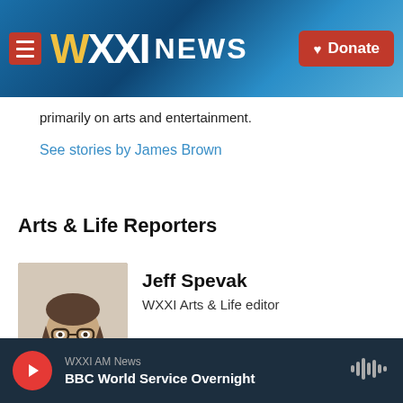WXXI NEWS — Donate
primarily on arts and entertainment.
See stories by James Brown
Arts & Life Reporters
[Figure (photo): Headshot of Jeff Spevak, a man with long gray-brown hair and glasses, wearing a dark shirt]
Jeff Spevak
WXXI Arts & Life editor
WXXI AM News — BBC World Service Overnight